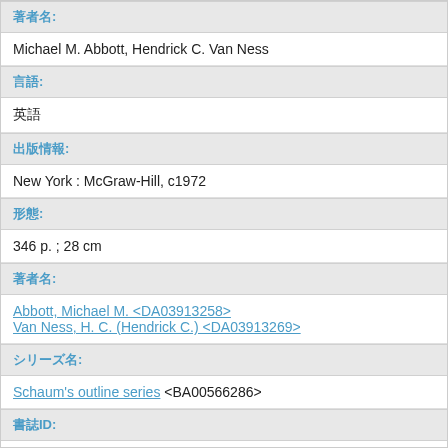著者名:
Michael M. Abbott, Hendrick C. Van Ness
言語:
英語
出版情報:
New York : McGraw-Hill, c1972
形態:
346 p. ; 28 cm
著者名:
Abbott, Michael M. <DA03913258>
Van Ness, H. C. (Hendrick C.) <DA03913269>
シリーズ名:
Schaum's outline series <BA00566286>
書誌ID:
BA10676087
ISBN: